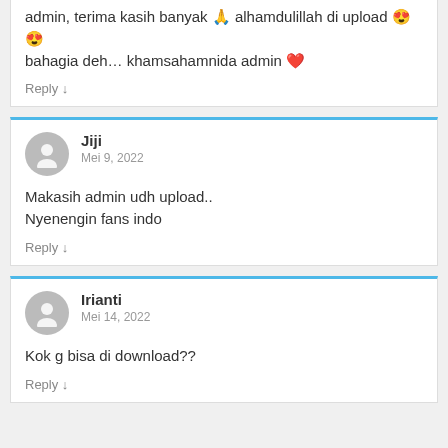admin, terima kasih banyak 🙏 alhamdulillah di upload 😍😍 bahagia deh… khamsahamnida admin ❤️
Reply ↓
Jiji
Mei 9, 2022
Makasih admin udh upload.. Nyenengin fans indo
Reply ↓
Irianti
Mei 14, 2022
Kok g bisa di download??
Reply ↓